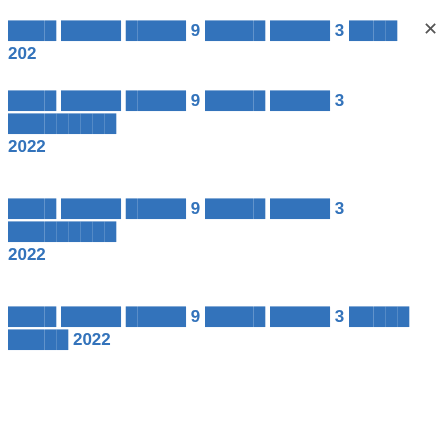████ █████ █████ 9 █████ █████ 3 ████ 202…
████ █████ █████ 9 █████ █████ 3 █████████ 2022
████ █████ █████ 9 █████ █████ 3 █████████ 2022
████ █████ █████ 9 █████ █████ 3 █████ █████ 2022